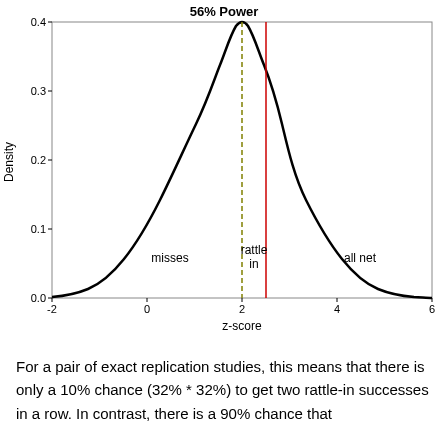[Figure (continuous-plot): A normal distribution density curve (bell curve) centered around z=2, with a dashed olive/gold vertical line at approximately z=2.0 labeled 'rattle in' and a solid red vertical line at approximately z=2.5. Regions are labeled: 'misses' to the left of the dashed line, 'rattle in' between the lines, and 'all net' to the right of the red line. X-axis is z-score from -2 to 6, Y-axis is Density from 0.0 to 0.4.]
For a pair of exact replication studies, this means that there is only a 10% chance (32% * 32%) to get two rattle-in successes in a row. In contrast, there is a 90% chance that